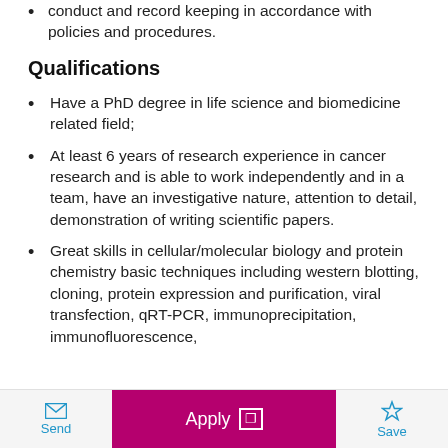Maintain the highest standard of professional conduct and record keeping in accordance with policies and procedures.
Qualifications
Have a PhD degree in life science and biomedicine related field;
At least 6 years of research experience in cancer research and is able to work independently and in a team, have an investigative nature, attention to detail, demonstration of writing scientific papers.
Great skills in cellular/molecular biology and protein chemistry basic techniques including western blotting, cloning, protein expression and purification, viral transfection, qRT-PCR, immunoprecipitation, immunofluorescence,